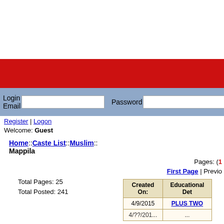[Figure (screenshot): White header area at top of webpage]
[Figure (screenshot): Red navigation bar]
Login Email  [input]  Password  [input]
Register | Logon
Welcome: Guest
Home::Caste List::Muslim:: Mappila
Pages: (1)
First Page | Previo...
Total Pages: 25
Total Posted: 241
| Created On: | Educational Det... |
| --- | --- |
| 4/9/2015 | PLUS TWO |
| 4/??/201... | ... |